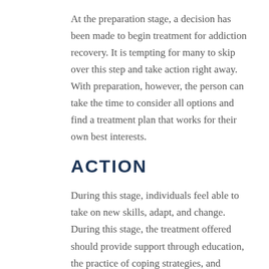At the preparation stage, a decision has been made to begin treatment for addiction recovery. It is tempting for many to skip over this step and take action right away. With preparation, however, the person can take the time to consider all options and find a treatment plan that works for their own best interests.
ACTION
During this stage, individuals feel able to take on new skills, adapt, and change. During this stage, the treatment offered should provide support through education, the practice of coping strategies, and relapse prevention. Therapists and counselors can help with the transition from this stage to maintenance...